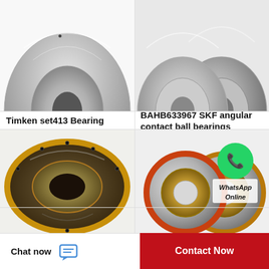[Figure (photo): Timken set413 bearing component - metallic silver cylindrical bearing part, top cropped]
[Figure (photo): BAHB633967 SKF angular contact ball bearings - multiple ball bearings in gray metallic finish, top cropped]
Timken set413 Bearing
BAHB633967 SKF angular contact ball bearings
[Figure (photo): 71917 CD/P4AH1 SKF angular contact ball bearing - large flat ring bearing in dark finish with brass cage]
[Figure (photo): 7944 NTN angular contact ball bearings - two bearings with orange/red outer ring and brass cage, with WhatsApp Online logo overlay]
71917 CD/P4AH1 SKF
7944 NTN angular contact